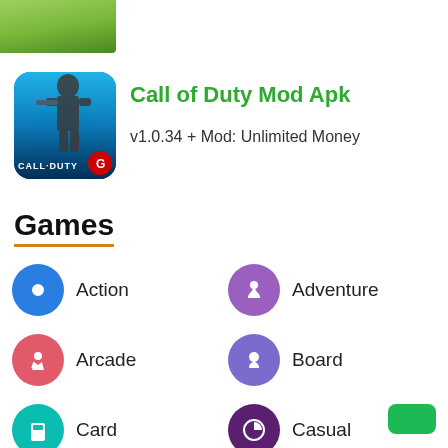[Figure (photo): Partial image of grass/lawn at top left corner]
[Figure (photo): Call of Duty mobile game icon with soldier and Garena logo on blue background]
Call of Duty Mod Apk
v1.0.34 + Mod: Unlimited Money
Games
Action
Adventure
Arcade
Board
Card
Casual
Fighting
Logic
MOBA
Music